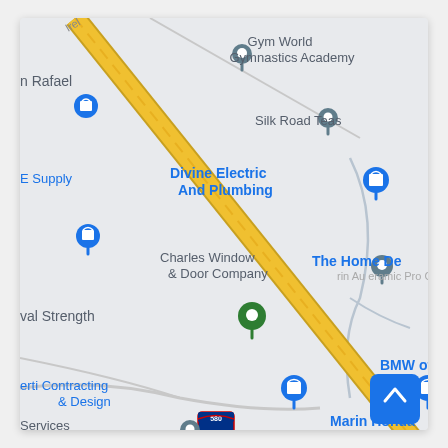[Figure (map): Google Maps screenshot showing an area of San Rafael, CA. A diagonal yellow road (major highway/boulevard) runs from upper-left to lower-right. Various business markers are visible: Gym World Gymnastics Academy (gray pin, top center), Silk Road Teas (gray pin), Divine Electric And Plumbing (blue shopping pin), Charles Window & Door Company (gray pin), The Home Depot (partially visible, right), val Strength (green pin), erti Contracting & Design (blue shopping pin), BMW of San Rafael (blue shopping pin), Marin Honda (partially visible, bottom right), Services n Rafael (gray pin). Interstate 580 shield visible at bottom. A blue scroll-to-top button is in the bottom-right corner.]